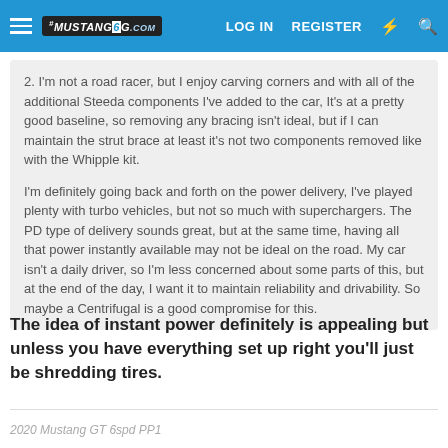Mustang6G.com — LOG IN  REGISTER
2. I'm not a road racer, but I enjoy carving corners and with all of the additional Steeda components I've added to the car, It's at a pretty good baseline, so removing any bracing isn't ideal, but if I can maintain the strut brace at least it's not two components removed like with the Whipple kit.

I'm definitely going back and forth on the power delivery, I've played plenty with turbo vehicles, but not so much with superchargers. The PD type of delivery sounds great, but at the same time, having all that power instantly available may not be ideal on the road. My car isn't a daily driver, so I'm less concerned about some parts of this, but at the end of the day, I want it to maintain reliability and drivability. So maybe a Centrifugal is a good compromise for this.
The idea of instant power definitely is appealing but unless you have everything set up right you'll just be shredding tires.
2020 Mustang GT 6spd PP1